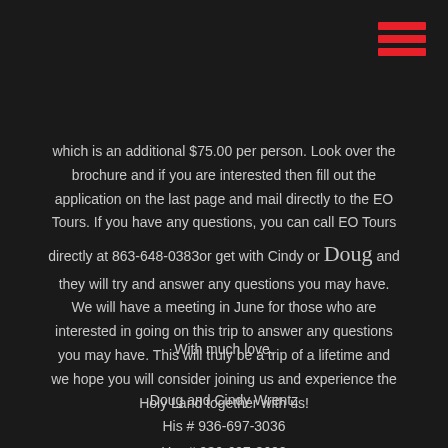[Figure (other): Hamburger menu icon — three horizontal red bars in top-right corner]
which is an additional $75.00 per person. Look over the brochure and if you are interested then fill out the application on the last page and mail directly to the EO Tours. If you have any questions, you can call EO Tours directly at 863-648-0383or get with Cindy or Doug and they will try and answer any questions you may have. We will have a meeting in June for those who are interested in going on this trip to answer any questions you may have. This will truly be a trip of a lifetime and we hope you will consider joining us and experience the Holy Land together with us!
With much love,
Doug and Cindy Wrentz
His # 936-697-3036
Her # 936-697-3600